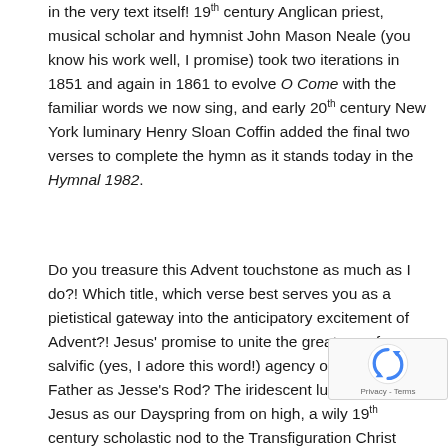in the very text itself! 19th century Anglican priest, musical scholar and hymnist John Mason Neale (you know his work well, I promise) took two iterations in 1851 and again in 1861 to evolve O Come with the familiar words we now sing, and early 20th century New York luminary Henry Sloan Coffin added the final two verses to complete the hymn as it stands today in the Hymnal 1982.
Do you treasure this Advent touchstone as much as I do?! Which title, which verse best serves you as a pietistical gateway into the anticipatory excitement of Advent?! Jesus' promise to unite the great arc of salvific (yes, I adore this word!) agency of our Heavenly Father as Jesse's Rod? The iridescent luminosity of Jesus as our Dayspring from on high, a wily 19th century scholastic nod to the Transfiguration Christ who cheers us while dispersing the gloomy clouds of